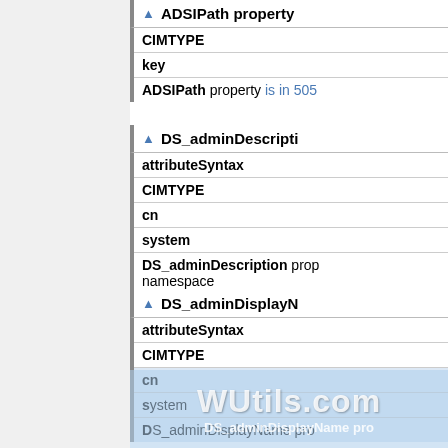▲ ADSIPath property
| CIMTYPE |
| key |
| ADSIPath property is in 505... |
▲ DS_adminDescription
| attributeSyntax |
| CIMTYPE |
| cn |
| system |
| DS_adminDescription prop... namespace |
▲ DS_adminDisplayN...
| attributeSyntax |
| CIMTYPE |
| cn |
| system |
| DS_adminDisplayName pro... |
[Figure (other): WUtils.com watermark overlay at bottom of page]